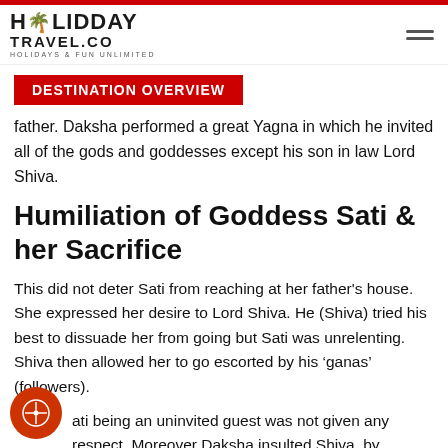HOLIDAY TRAVEL.CO — HOLIDAYS & FUN UNLIMITED
DESTINATION OVERVIEW
father. Daksha performed a great Yagna in which he invited all of the gods and goddesses except his son in law Lord Shiva.
Humiliation of Goddess Sati & her Sacrifice
This did not deter Sati from reaching at her father's house. She expressed her desire to Lord Shiva. He (Shiva) tried his best to dissuade her from going but Sati was unrelenting. Shiva then allowed her to go escorted by his ‘ganas’ (followers).
Sati being an uninvited guest was not given any respect. Moreover Daksha insulted Shiva, by calumniating him. Sati became sad by her husband’s dishonour. She gave up her life